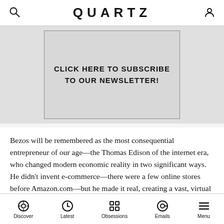QUARTZ
[Figure (other): Newsletter subscription banner: CLICK HERE TO SUBSCRIBE TO OUR NEWSLETTER!]
Bezos will be remembered as the most consequential entrepreneur of our age—the Thomas Edison of the internet era, who changed modern economic reality in two significant ways. He didn't invent e-commerce—there were a few online stores before Amazon.com—but he made it real, creating a vast, virtual “everything store” and an accompanying fulfillment and transportation network that can bring many of the things we need to our homes, rather than requiring us to find and fetch.
Discover  Latest  Obsessions  Emails  Menu